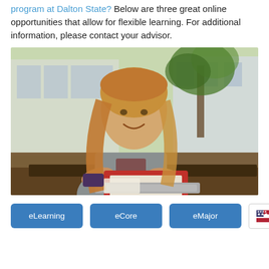program at Dalton State? Below are three great online opportunities that allow for flexible learning. For additional information, please contact your advisor.
[Figure (photo): A smiling young woman with long blonde hair sitting outdoors at a table, using a red laptop. Trees and a building visible in the background.]
eLearning
eCore
eMajor
English